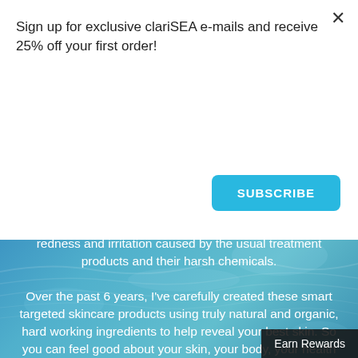Sign up for exclusive clariSEA e-mails and receive 25% off your first order!
SUBSCRIBE
redness and irritation caused by the usual treatment products and their harsh chemicals.
Over the past 6 years, I've carefully created these smart targeted skincare products using truly natural and organic, hard working ingredients to help reveal your best skin. So you can feel good about your skin, your body, your health and just LIVE FREE! - Cheers, Alison
Earn Rewards